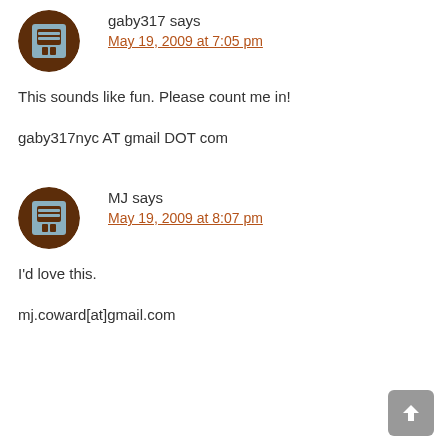gaby317 says
May 19, 2009 at 7:05 pm
This sounds like fun. Please count me in!
gaby317nyc AT gmail DOT com
MJ says
May 19, 2009 at 8:07 pm
I'd love this.
mj.coward[at]gmail.com